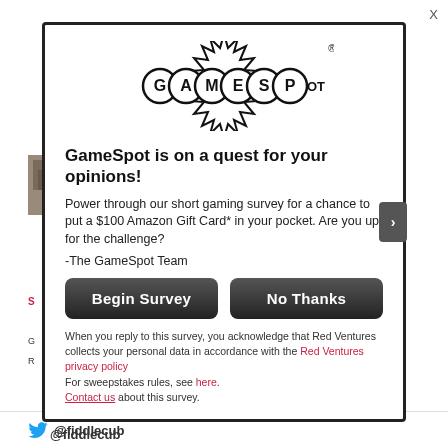[Figure (screenshot): GameSpot survey popup modal over a website page. Background shows a website with a close X button at top right, a small image thumbnail, red-outlined buttons, and left-side text snippets. A right-pointing arrow navigation button appears on the right edge of the modal.]
GameSpot is on a quest for your opinions!
Power through our short gaming survey for a chance to put a $100 Amazon Gift Card* in your pocket.  Are you up for the challenge?
-The GameSpot Team
Begin Survey
No Thanks
When you reply to this survey, you acknowledge that Red Ventures collects your personal data in accordance with the Red Ventures privacy policy
For sweepstakes rules, see here.
Contact us about this survey.
@fiddlecub